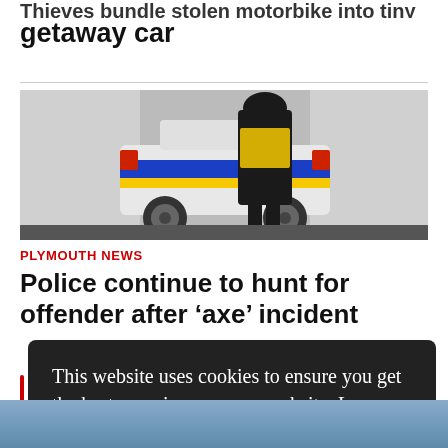Thieves bundle stolen motorbike into tiny getaway car
[Figure (photo): Police officer standing next to a police car (blue and yellow markings, high-visibility vest), viewed from behind on a road.]
PLYMOUTH NEWS
Police continue to hunt for offender after 'axe' incident
This website uses cookies to ensure you get the best experience on our website. Learn more
Got it!